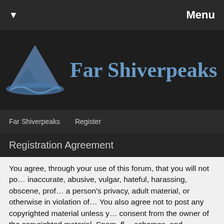▼   Menu
[Figure (logo): Far Shiverpeaks website logo with mountain/wave icon and site title text]
Far Shiverpeaks   Register
Registration Agreement
You agree, through your use of this forum, that you will not post any material which is false, defamatory, inaccurate, abusive, vulgar, hateful, harassing, obscene, profane, sexually oriented, threatening, invasive of a person's privacy, adult material, or otherwise in violation of any International or United States Federal law. You also agree not to post any copyrighted material unless you own the copyright or you have written consent from the owner of the copyrighted material. Spam, flooding, advertisements, chain letters, pyramid schemes, and solicitations are also forbidden on this forum.
Note that it is impossible for the staff or the owners of this forum to confirm the validity of posts. Please remember that we do not actively monitor the posted messages.